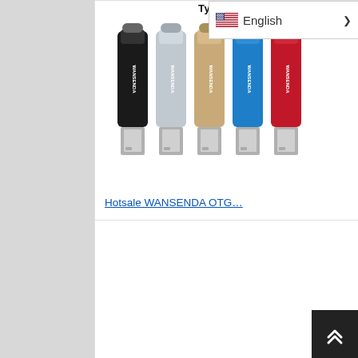[Figure (photo): Five WANSENDA OTG USB flash drives shown side by side in black, silver, gold, blue, and red colors with Type-C and USB connectors. Text 'Type-C+Us' visible at top.]
Hotsale WANSENDA OTG…
US $3.64